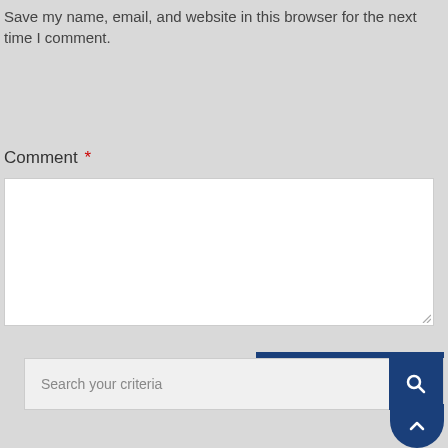Save my name, email, and website in this browser for the next time I comment.
Comment *
[Figure (screenshot): Empty white text area input field for comment entry with resize handle in bottom-right corner]
[Figure (screenshot): POST COMMENT button in dark navy blue]
[Figure (screenshot): Search bar with placeholder text 'Search your criteria' and dark navy blue search icon button on the right, with a back-to-top chevron button below]